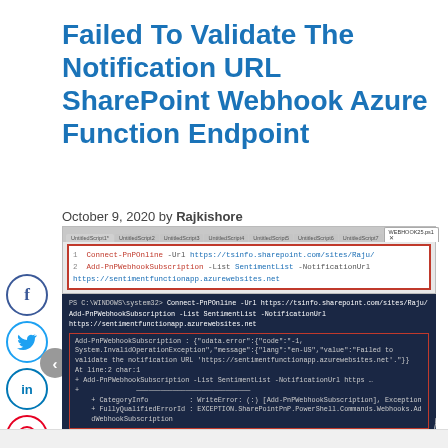Failed To Validate The Notification URL SharePoint Webhook Azure Function Endpoint
October 9, 2020 by Rajkishore
[Figure (screenshot): PowerShell ISE editor showing two commands: Connect-PnPOnline -Url https://tsinfo.sharepoint.com/sites/Raju/ and Add-PnPWebhookSubscription -List SentimentList -NotificationUrl https://sentimentfunctionapp.azurewebsites.net, with a red border highlight around the code. Below is a dark blue PowerShell terminal showing the error output: Add-PnPWebhookSubscription error with odata.error code -1, System.InvalidOperationException message in en-US: Failed to validate the notification URL. Error details including CategoryInfo WriteError and FullyQualifiedErrorId EXCEPTION.SharePointPnP.PowerShell.Commands.Webhooks.AddWebhookSubscription.]